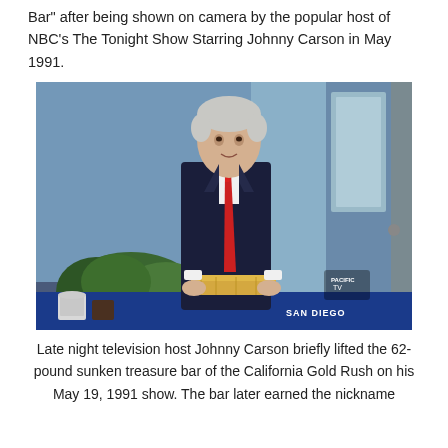Bar" after being shown on camera by the popular host of NBC's The Tonight Show Starring Johnny Carson in May 1991.
[Figure (photo): Late night television host Johnny Carson standing at a desk on The Tonight Show set, holding a large gold bar (the 62-pound sunken treasure bar of the California Gold Rush). He is wearing a dark navy suit with a red tie. The studio background shows blue panels and greenery. A watermark reads 'SAN DIEGO' in the bottom right corner.]
Late night television host Johnny Carson briefly lifted the 62-pound sunken treasure bar of the California Gold Rush on his May 19, 1991 show. The bar later earned the nickname